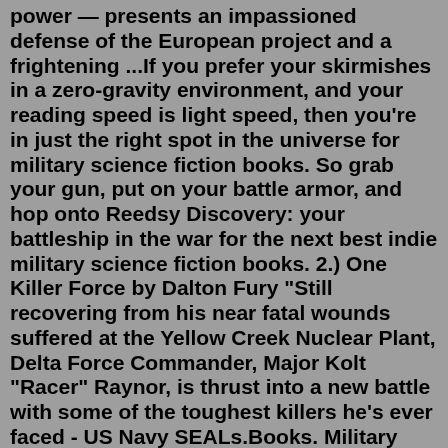power — presents an impassioned defense of the European project and a frightening ...If you prefer your skirmishes in a zero-gravity environment, and your reading speed is light speed, then you're in just the right spot in the universe for military science fiction books. So grab your gun, put on your battle armor, and hop onto Reedsy Discovery: your battleship in the war for the next best indie military science fiction books. 2.) One Killer Force by Dalton Fury "Still recovering from his near fatal wounds suffered at the Yellow Creek Nuclear Plant, Delta Force Commander, Major Kolt "Racer" Raynor, is thrust into a new battle with some of the toughest killers he's ever faced - US Navy SEALs.Books. Military Fiction; Filter. Sort By: Show: Show: We have been in the publishing business for seven years. We take immense pride in publishing unusual stories from Authors who are of a breed apart from the rest. ... Military Fiction; Filter. Sort By: Show: Add to cart. Add to wishlist. Quick View. Add to wishlist. Military